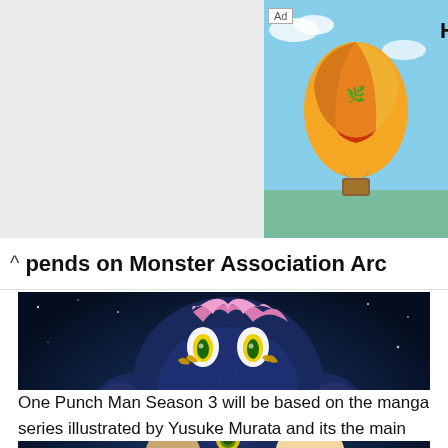[Figure (screenshot): Advertisement banner showing a hot air balloon photo with text 'Hot Air Exp...' and 'Hot Air Expedit...' label badge]
pends on Monster Association Arc
[Figure (illustration): One Punch Man promotional artwork showing Genos, Saitama, and a large monster villain on a space background with blue lightning effects]
One Punch Man Season 3 will be based on the manga series illustrated by Yusuke Murata and its the main